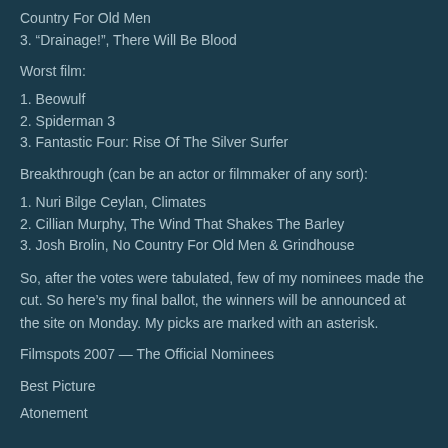Country For Old Men
3. “Drainage!”, There Will Be Blood
Worst film:
1. Beowulf
2. Spiderman 3
3. Fantastic Four: Rise Of The Silver Surfer
Breakthrough (can be an actor or filmmaker of any sort):
1. Nuri Bilge Ceylan, Climates
2. Cillian Murphy, The Wind That Shakes The Barley
3. Josh Brolin, No Country For Old Men & Grindhouse
So, after the votes were tabulated, few of my nominees made the cut. So here’s my final ballot, the winners will be announced at the site on Monday. My picks are marked with an asterisk.
Filmspots 2007 — The Official Nominees
Best Picture
Atonement